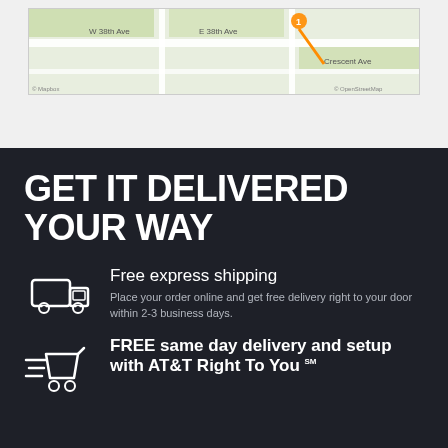[Figure (map): A street map showing a location with an orange pin and route line, showing streets including W 38th Ave, E 38th Ave, Crescent Ave. Map attribution reads Mapbox and OpenStreetMap.]
GET IT DELIVERED YOUR WAY
[Figure (illustration): White outline icon of a delivery truck facing right]
Free express shipping
Place your order online and get free delivery right to your door within 2-3 business days.
[Figure (illustration): White outline icon of a shopping cart with speed lines indicating fast delivery]
FREE same day delivery and setup with AT&T Right To You℠